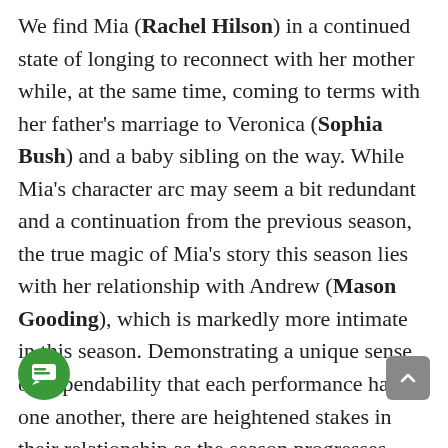We find Mia (Rachel Hilson) in a continued state of longing to reconnect with her mother while, at the same time, coming to terms with her father's marriage to Veronica (Sophia Bush) and a baby sibling on the way. While Mia's character arc may seem a bit redundant and a continuation from the previous season, the true magic of Mia's story this season lies with her relationship with Andrew (Mason Gooding), which is markedly more intimate in this season. Demonstrating a unique sense of dependability that each performance has for one another, there are heightened stakes in their relationship as the season progresses. Their long-standing relationship meets a dilemma as Mason contemplates worrying about his post-graduation while trying to always be there – physically and mentally – for Mia. Hilson continues to